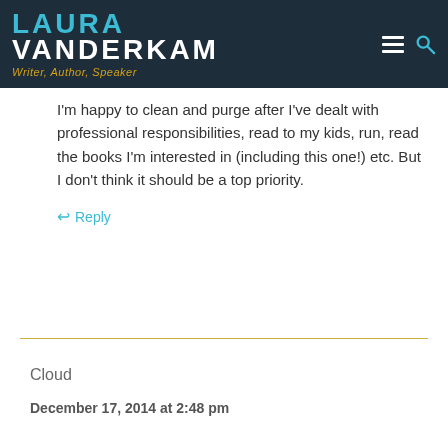LAURA VANDERKAM — Writer, Author, Speaker
I'm happy to clean and purge after I've dealt with professional responsibilities, read to my kids, run, read the books I'm interested in (including this one!) etc. But I don't think it should be a top priority.
↩ Reply
Cloud
December 17, 2014 at 2:48 pm